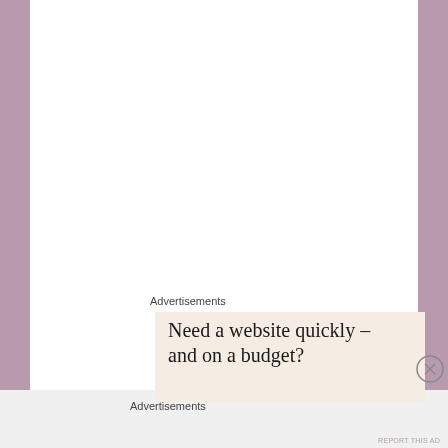Advertisements
[Figure (illustration): Advertisement box with cream/beige background containing text: Need a website quickly – and on a budget?]
Advertisements
REPORT THIS AD